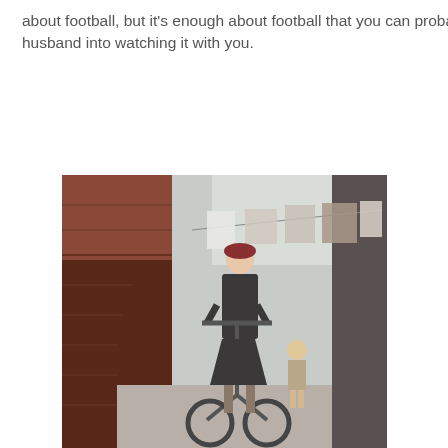about football, but it's enough about football that you can probably wrangle your sports loving husband into watching it with you.
[Figure (photo): A woman wearing a dark coat and red beret rides a bicycle through a narrow alleyway flanked by brick walls, with laundry hanging on a line above. A young child in a patterned dress walks behind her on the cobblestone path.]